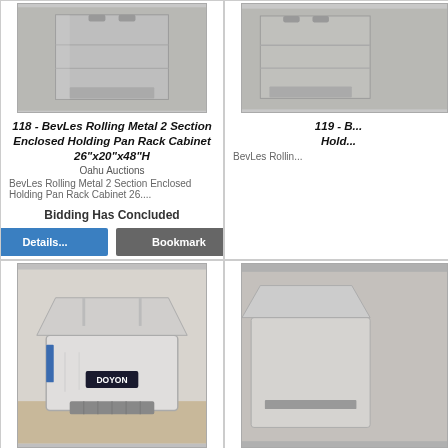[Figure (photo): Stainless steel BevLes rolling metal 2 section enclosed holding pan rack cabinet]
118 - BevLes Rolling Metal 2 Section Enclosed Holding Pan Rack Cabinet 26"x20"x48"H
Oahu Auctions
BevLes Rolling Metal 2 Section Enclosed Holding Pan Rack Cabinet 26....
Bidding Has Concluded
Details...
Bookmark
[Figure (photo): Partial view of BevLes Rolling Holding rack (item 119), cropped at right edge]
119 - B... Hold...
BevLes Rollin...
[Figure (photo): Doyon commercial bread dough sheeter/roller machine on a table]
[Figure (photo): Partial view of another item, cropped at right edge]